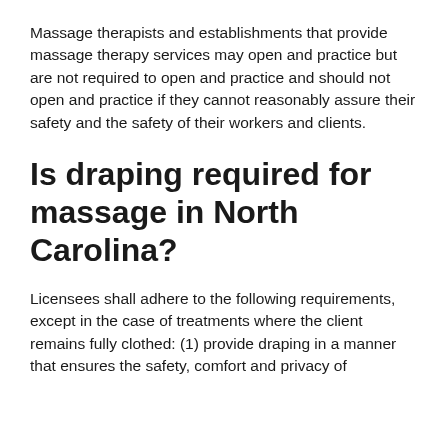Massage therapists and establishments that provide massage therapy services may open and practice but are not required to open and practice and should not open and practice if they cannot reasonably assure their safety and the safety of their workers and clients.
Is draping required for massage in North Carolina?
Licensees shall adhere to the following requirements, except in the case of treatments where the client remains fully clothed: (1) provide draping in a manner that ensures the safety, comfort and privacy of